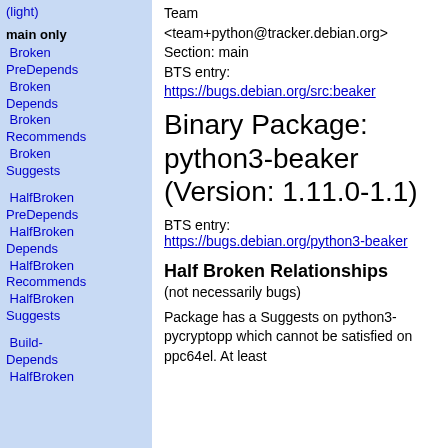(light)
main only
Broken PreDepends
Broken Depends
Broken Recommends
Broken Suggests
HalfBroken PreDepends
HalfBroken Depends
HalfBroken Recommends
HalfBroken Suggests
Build-Depends
HalfBroken
Team <team+python@tracker.debian.org>
Section: main
BTS entry:
https://bugs.debian.org/src:beaker
Binary Package: python3-beaker (Version: 1.11.0-1.1)
BTS entry:
https://bugs.debian.org/python3-beaker
Half Broken Relationships
(not necessarily bugs)
Package has a Suggests on python3-pycryptopp which cannot be satisfied on ppc64el. At least